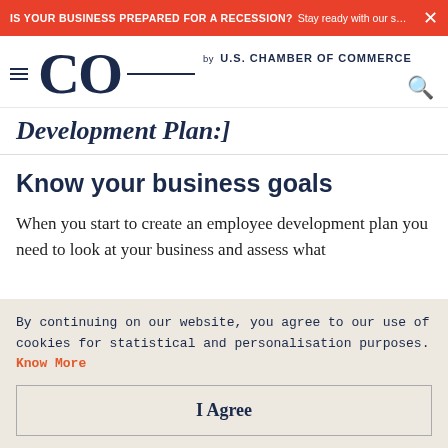IS YOUR BUSINESS PREPARED FOR A RECESSION? Stay ready with our small busin... ×
CO by U.S. CHAMBER OF COMMERCE
Development Plan:]
Know your business goals
When you start to create an employee development plan you need to look at your business and assess what
By continuing on our website, you agree to our use of cookies for statistical and personalisation purposes. Know More
I Agree